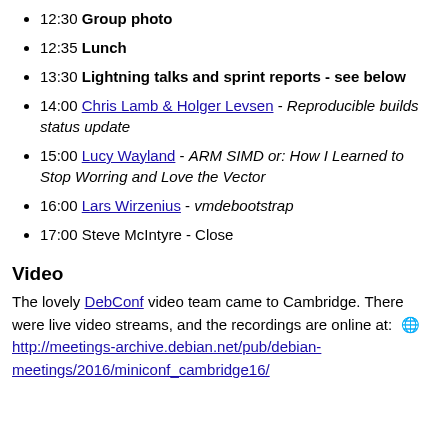12:30 Group photo
12:35 Lunch
13:30 Lightning talks and sprint reports - see below
14:00 Chris Lamb & Holger Levsen - Reproducible builds status update
15:00 Lucy Wayland - ARM SIMD or: How I Learned to Stop Worring and Love the Vector
16:00 Lars Wirzenius - vmdebootstrap
17:00 Steve McIntyre - Close
Video
The lovely DebConf video team came to Cambridge. There were live video streams, and the recordings are online at: 🌐 http://meetings-archive.debian.net/pub/debian-meetings/2016/miniconf_cambridge16/